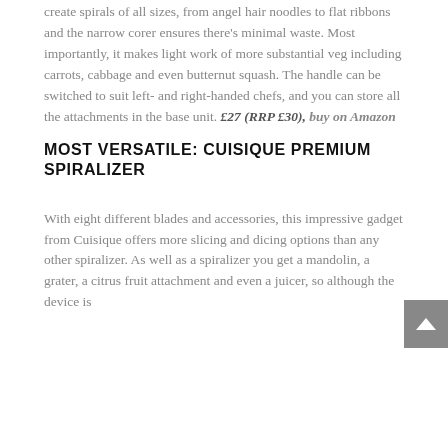create spirals of all sizes, from angel hair noodles to flat ribbons and the narrow corer ensures there's minimal waste. Most importantly, it makes light work of more substantial veg including carrots, cabbage and even butternut squash. The handle can be switched to suit left- and right-handed chefs, and you can store all the attachments in the base unit. £27 (RRP £30), buy on Amazon
MOST VERSATILE: CUISIQUE PREMIUM SPIRALIZER
With eight different blades and accessories, this impressive gadget from Cuisique offers more slicing and dicing options than any other spiralizer. As well as a spiralizer you get a mandolin, a grater, a citrus fruit attachment and even a juicer, so although the device is